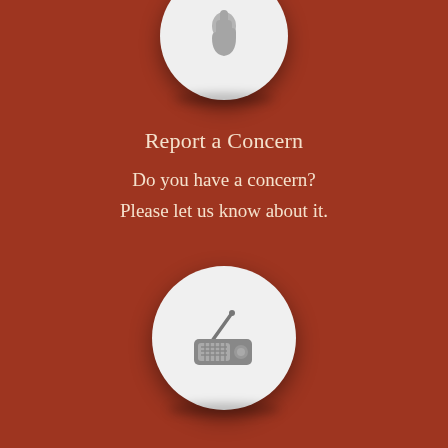[Figure (illustration): Partial white circle icon at top of page, cropped, with a hand/cursor icon inside]
Report a Concern
Do you have a concern?
Please let us know about it.
[Figure (illustration): White circle icon with a radio/antenna icon inside, centered on dark red background]
Agenda and Minutes
Keep up to date
with meeting information.